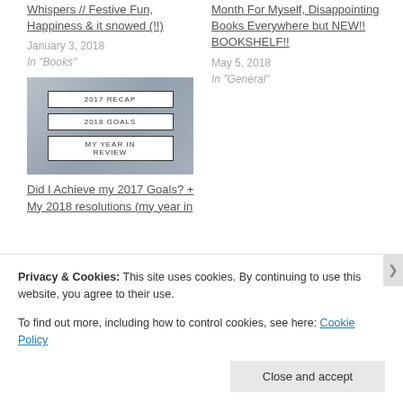Whispers // Festive Fun, Happiness & it snowed (!!)
January 3, 2018
In "Books"
Month For Myself, Disappointing Books Everywhere but NEW!! BOOKSHELF!!
May 5, 2018
In "General"
[Figure (screenshot): Blog post thumbnail image with three labeled boxes: '2017 RECAP', '2018 GOALS', 'MY YEAR IN REVIEW' overlaid on a blurred background photo]
Did I Achieve my 2017 Goals? + My 2018 resolutions (my year in
Privacy & Cookies: This site uses cookies. By continuing to use this website, you agree to their use.
To find out more, including how to control cookies, see here: Cookie Policy
Close and accept